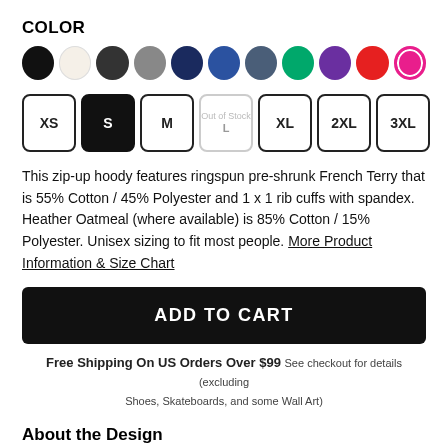COLOR
[Figure (other): Color swatches: black, cream/oatmeal, dark charcoal, gray, navy, royal blue, slate/steel blue, green, purple, red, hot pink (selected/active)]
[Figure (other): Size selector buttons: XS, S (selected/active, black), M, L (Out of Stock, grayed), XL, 2XL, 3XL]
This zip-up hoody features ringspun pre-shrunk French Terry that is 55% Cotton / 45% Polyester and 1 x 1 rib cuffs with spandex. Heather Oatmeal (where available) is 85% Cotton / 15% Polyester. Unisex sizing to fit most people. More Product Information & Size Chart
ADD TO CART
Free Shipping On US Orders Over $99 See checkout for details (excluding Shoes, Skateboards, and some Wall Art)
About the Design
It's been a long time coming...